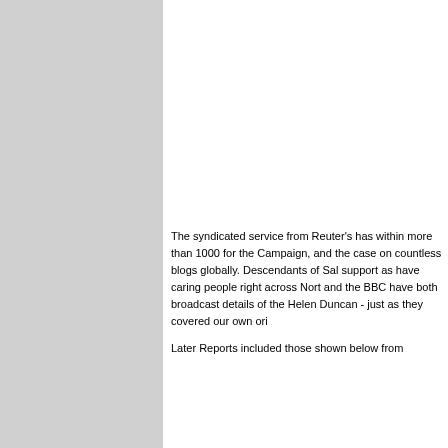[Figure (other): Gray sidebar panel on the left side of the page]
The syndicated service from Reuter's has within more than 1000 for the Campaign, and the case on countless blogs globally. Descendants of Sal support as have caring people right across Nort and the BBC have both broadcast details of the Helen Duncan - just as they covered our own ori
Later Reports included those shown below from